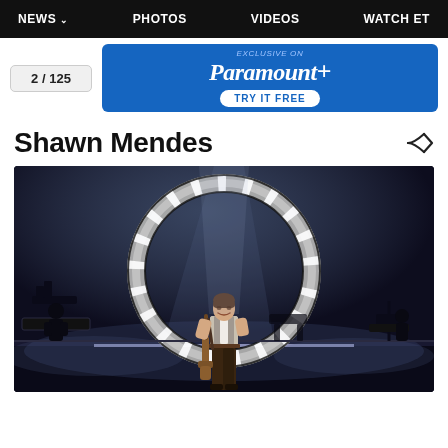NEWS  PHOTOS  VIDEOS  WATCH ET
2 / 125
[Figure (screenshot): Paramount+ advertisement banner with blue background and 'TRY IT FREE' button]
Shawn Mendes
[Figure (photo): Shawn Mendes performing on stage holding a guitar, standing in front of a large circular illuminated ring light structure, atmospheric fog on stage, silhouettes of band members and equipment in background]